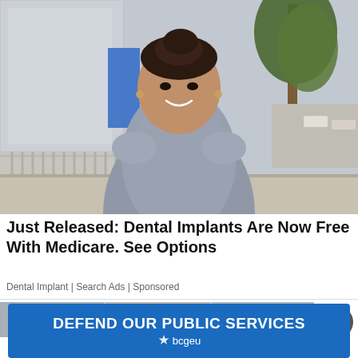[Figure (photo): A young woman with dark hair in a bun, wearing a grey short-sleeve fitted dress, smiling and standing on a sidewalk in front of a building with a fence on the left and a tree on the right.]
Just Released: Dental Implants Are Now Free With Medicare. See Options
Dental Implant | Search Ads | Sponsored
[Figure (screenshot): Partially visible next article image strip at the bottom of the page]
[Figure (infographic): Blue banner advertisement reading DEFEND OUR PUBLIC SERVICES with bcgeu logo (star icon with bcgeu text)]